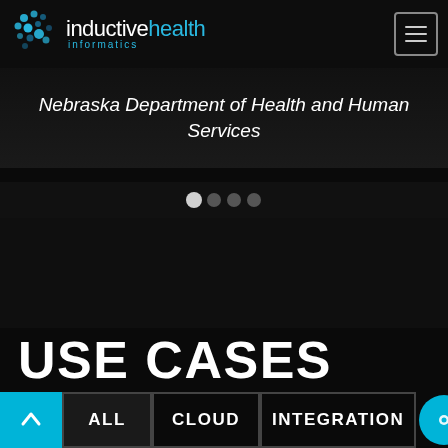inductive health informatics
Nebraska Department of Health and Human Services
[Figure (screenshot): Carousel navigation dots — one white active dot and three grey inactive dots]
USE CASES
ALL
CLOUD
INTEGRATION